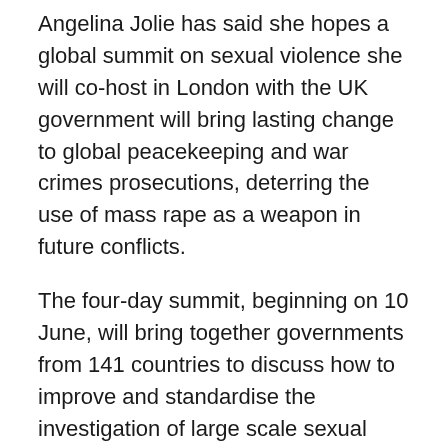Angelina Jolie has said she hopes a global summit on sexual violence she will co-host in London with the UK government will bring lasting change to global peacekeeping and war crimes prosecutions, deterring the use of mass rape as a weapon in future conflicts.
The four-day summit, beginning on 10 June, will bring together governments from 141 countries to discuss how to improve and standardise the investigation of large scale sexual violence in wartime, to bring an end a culture of impunity that has severely limited prosecutions up to now.
Speaking to The Guardian during a visit to Bosnia, Jolie said: “I would hope that years down the line when war breaks out, people who are considering raping a man, woman or child would be very aware of the consequences of their actions, and that a woman crossing a checkpoint